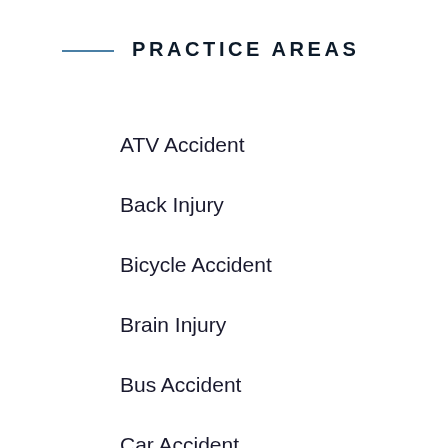PRACTICE AREAS
ATV Accident
Back Injury
Bicycle Accident
Brain Injury
Bus Accident
Car Accident